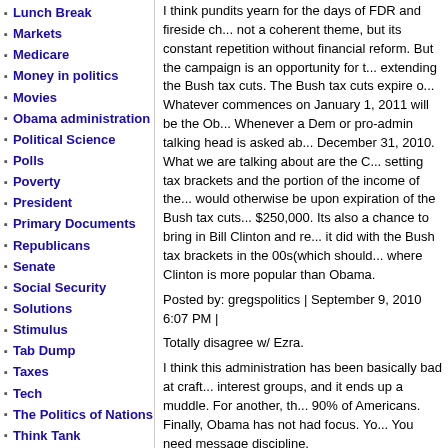Lunch Break
Markets
Medicare
Money in politics
Movies
Obama administration
Political Science
Polls
Poverty
President
Primary Documents
Republicans
Senate
Social Security
Solutions
Stimulus
Tab Dump
Taxes
Tech
The Politics of Nations
Think Tank
Unions
Urban Policy
Video
I think pundits yearn for the days of FDR and fireside ch... not a coherent theme, but its constant repetition without financial reform. But the campaign is an opportunity for t... extending the Bush tax cuts. The Bush tax cuts expire o... Whatever commences on January 1, 2011 will be the Ob... Whenever a Dem or pro-admin talking head is asked ab... December 31, 2010. What we are talking about are the C... setting tax brackets and the portion of the income of the... would otherwise be upon expiration of the Bush tax cuts... $250,000. Its also a chance to bring in Bill Clinton and re... it did with the Bush tax brackets in the 00s(which should... where Clinton is more popular than Obama.
Posted by: gregspolitics | September 9, 2010 6:07 PM |
Totally disagree w/ Ezra.
I think this administration has been basically bad at craft... interest groups, and it ends up a muddle. For another, th... 90% of Americans. Finally, Obama has not had focus. Yo... You need message discipline.
A narrative is pedagogy. It's an instrument to help voters
Example: Obama's stmt on the financial crisis, that is wa... same boat as the homeowners. So Very Wrong. So Unc... meaningful application of common ethical values to the f...
If you can give examples where Obama did blame the ba...
Another bad thing about inconsistency is that it makes th...
Reagan was a master of narrative. Obama should really...
Posted by: mminka | September 9, 2010 6:11 PM | Repo...
No one listens to him because he has nothing positive to... economic matters, to being the most partisan president...